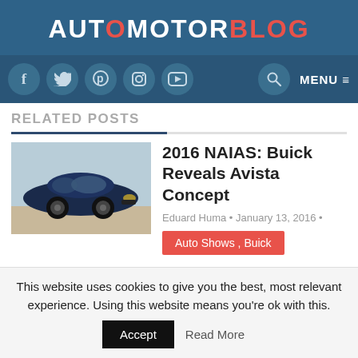AUTOMOTORBLOG
[Figure (screenshot): Navigation bar with social media icons (Facebook, Twitter, Pinterest, Instagram, YouTube), search icon, and MENU button on dark blue background]
RELATED POSTS
[Figure (photo): Dark blue Buick Avista concept car parked outdoors]
2016 NAIAS: Buick Reveals Avista Concept
Eduard Huma • January 13, 2016 •
Auto Shows , Buick
This website uses cookies to give you the best, most relevant experience. Using this website means you're ok with this.